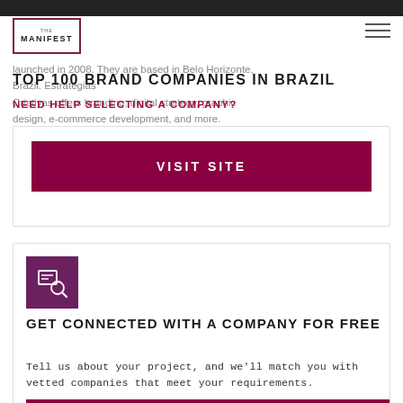THE MANIFEST
TOP 100 BRAND COMPANIES IN BRAZIL
NEED HELP SELECTING A COMPANY?
launched in 2008. They are based in Belo Horizonte, Brazil. Estratégias Criativas offers branding, digital strategy, graphic design, e-commerce development, and more.
VISIT SITE
[Figure (illustration): Search/list icon in purple square]
GET CONNECTED WITH A COMPANY FOR FREE
Tell us about your project, and we'll match you with vetted companies that meet your requirements.